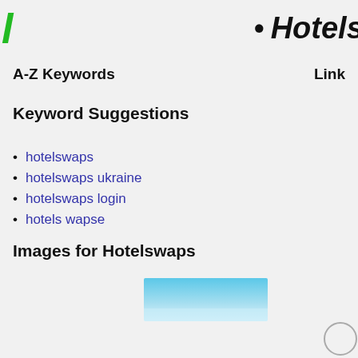Hotelswaps
A-Z Keywords
Keyword Suggestions
hotelswaps
hotelswaps ukraine
hotelswaps login
hotels wapse
Images for Hotelswaps
[Figure (photo): Partial image showing blue sky/water, part of a search result image for Hotelswaps]